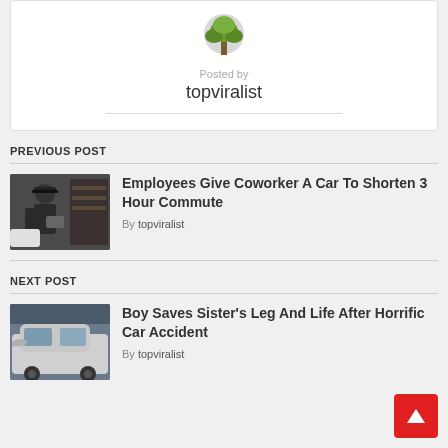[Figure (illustration): Tree logo / avatar icon for topviralist author]
Posted by
topviralist
PREVIOUS POST
[Figure (photo): Man in black cap and shirt standing in a store, holding papers]
Employees Give Coworker A Car To Shorten 3 Hour Commute
By topviralist
NEXT POST
[Figure (photo): Damaged white car after accident]
Boy Saves Sister's Leg And Life After Horrific Car Accident
By topviralist